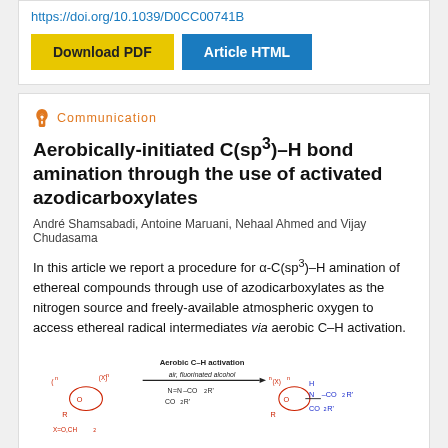https://doi.org/10.1039/D0CC00741B
[Figure (other): Download PDF and Article HTML buttons]
Communication
Aerobically-initiated C(sp³)–H bond amination through the use of activated azodicarboxylates
André Shamsabadi, Antoine Maruani, Nehaal Ahmed and Vijay Chudasama
In this article we report a procedure for α-C(sp³)–H amination of ethereal compounds through use of azodicarboxylates as the nitrogen source and freely-available atmospheric oxygen to access ethereal radical intermediates via aerobic C–H activation.
[Figure (schematic): Reaction scheme showing aerobic C–H activation: cyclic ether starting material reacting with fluorinated alcohol and azodicarboxylate (N=N-CO2R', CO2R') under air conditions to give aminated product with H-N(-CO2R')(-CO2R') group.]